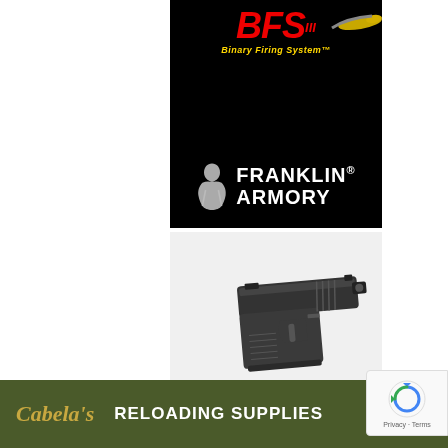[Figure (logo): Franklin Armory BFS III Binary Firing System logo on black background with red stylized lettering and silhouette of a Founding Father]
[Figure (logo): Glock Perfection advertisement showing a black Glock compact pistol on light gray background with Glock logo and PERFECTION text]
[Figure (other): Cabela's banner advertisement with olive green background showing Cabela's script logo, RELOADING SUPPLIES text, and SHOP NOW button]
[Figure (other): Google reCAPTCHA badge in bottom right corner with Privacy and Terms links]